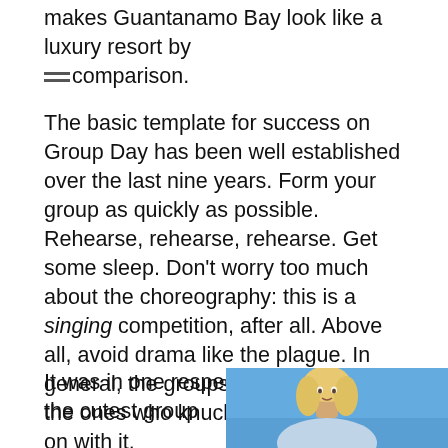makes Guantanamo Bay look like a luxury resort by comparison.
The basic template for success on Group Day has been well established over the last nine years. Form your group as quickly as possible. Rehearse, rehearse, rehearse. Get some sleep. Don't worry too much about the choreography: this is a singing competition, after all. Above all, avoid drama like the plague. In general, the groups who do well are the ones who knuckle down and get on with it.
In fact, it is possible to boil the formula for surviving the group round into a few simple rules – American Idol's Ten Commandments, if you will. Allow me to share …
1. S-Ty is the Lord thy God. Thou shalt have no other rock Gods before him
It was in one respect the cutest group
[Figure (photo): Photo of a person (partially cropped) against a blue background, visible in the bottom-right corner of the page]